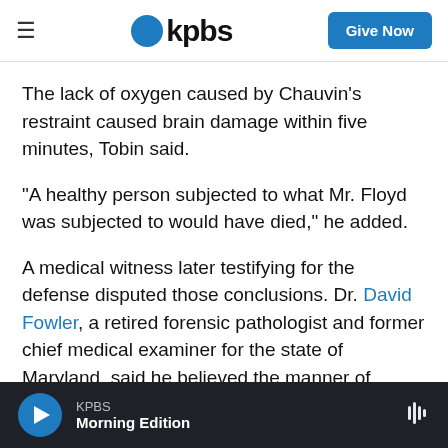kpbs | Give Now
The lack of oxygen caused by Chauvin's restraint caused brain damage within five minutes, Tobin said.
"A healthy person subjected to what Mr. Floyd was subjected to would have died," he added.
A medical witness later testifying for the defense disputed those conclusions. Dr. David Fowler, a retired forensic pathologist and former chief medical examiner for the state of Maryland, said he believed the manner of Floyd's death should be
KPBS Morning Edition